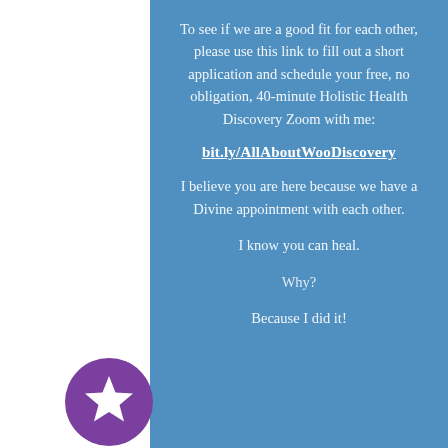To see if we are a good fit for each other, please use this link to fill out a short application and schedule your free, no obligation, 40-minute Holistic Health Discovery Zoom with me:
bit.ly/AllAboutWooDiscovery
I believe you are here because we have a Divine appointment with each other.
I know you can heal.
Why?
Because I did it!
[Figure (illustration): Purple circle with a white star icon inside, positioned at the bottom-left of the page overlapping the white and blue panel boundary.]